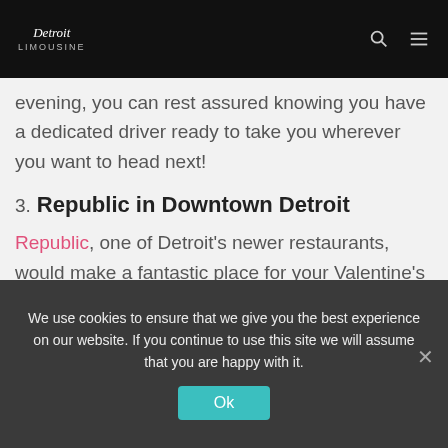Detroit Limo - Logo, Search, Menu
evening, you can rest assured knowing you have a dedicated driver ready to take you wherever you want to head next!
3. Republic in Downtown Detroit
Republic, one of Detroit’s newer restaurants, would make a fantastic place for your Valentine’s Day dinner in Detroit. Located right downtown, Republic has a wide-ranging menu
We use cookies to ensure that we give you the best experience on our website. If you continue to use this site we will assume that you are happy with it.